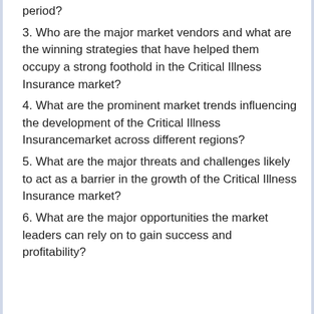period?
3. Who are the major market vendors and what are the winning strategies that have helped them occupy a strong foothold in the Critical Illness Insurance market?
4. What are the prominent market trends influencing the development of the Critical Illness Insurancemarket across different regions?
5. What are the major threats and challenges likely to act as a barrier in the growth of the Critical Illness Insurance market?
6. What are the major opportunities the market leaders can rely on to gain success and profitability?